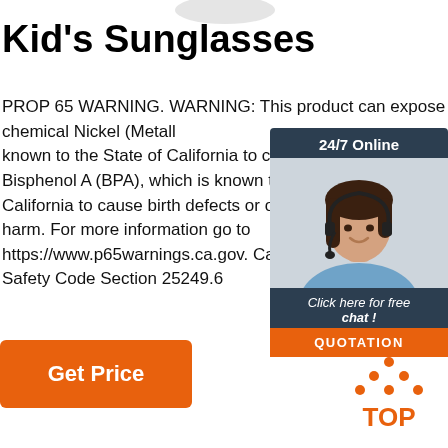Kid's Sunglasses
PROP 65 WARNING. WARNING: This product can expose you to the chemical Nickel (Metallic), known to the State of California to cause cancer, Bisphenol A (BPA), which is known to the State of California to cause birth defects or other reproductive harm. For more information go to https://www.p65warnings.ca.gov. California Health & Safety Code Section 25249.6
[Figure (infographic): Customer service chat widget with '24/7 Online' header, photo of woman with headset, 'Click here for free chat!' text, and orange QUOTATION button]
[Figure (other): Orange 'Get Price' button]
[Figure (logo): Orange 'TOP' logo with dots arranged in triangle above the text]